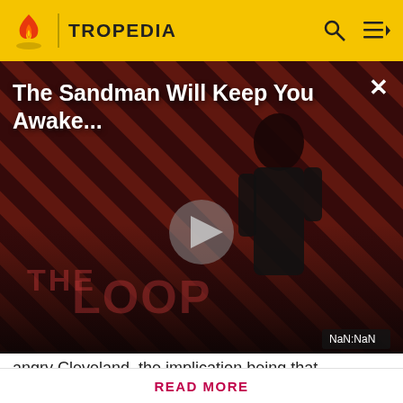TROPEDIA
[Figure (screenshot): Video thumbnail for 'The Sandman Will Keep You Awake...' showing a dark figure with diagonal red/black stripes. THE LOOP watermark visible at bottom. Play button in center. NaN:NaN timestamp shown bottom right. Close X button top right.]
angry Cleveland, the implication being that Quagmire would use it to slip Cleveland up. When the big cha
Before making a single edit, Tropedia EXPECTS our site policy and manual of style to be followed. Failure to do so may
READ MORE